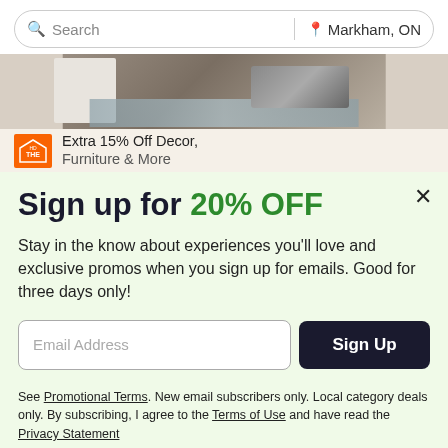Search | Markham, ON
[Figure (photo): Partial view of a Home Depot promotional banner showing bedroom decor with a rug and furniture, with Home Depot logo and text 'Extra 15% Off Decor, Furniture & More']
Sign up for 20% OFF
Stay in the know about experiences you'll love and exclusive promos when you sign up for emails. Good for three days only!
Email Address
Sign Up
See Promotional Terms. New email subscribers only. Local category deals only. By subscribing, I agree to the Terms of Use and have read the Privacy Statement